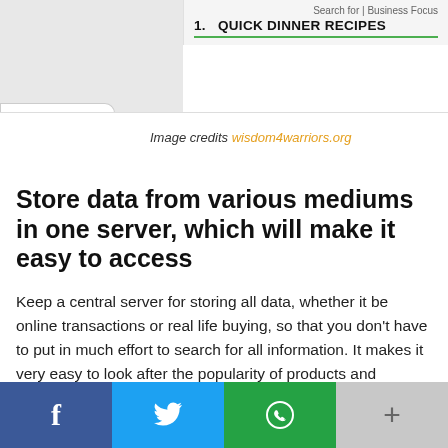Search for | Business Focus
1. QUICK DINNER RECIPES
Image credits wisdom4warriors.org
Store data from various mediums in one server, which will make it easy to access
Keep a central server for storing all data, whether it be online transactions or real life buying, so that you don't have to put in much effort to search for all information. It makes it very easy to look after the popularity of products and mediums.
f  [twitter bird]  [whatsapp]  +